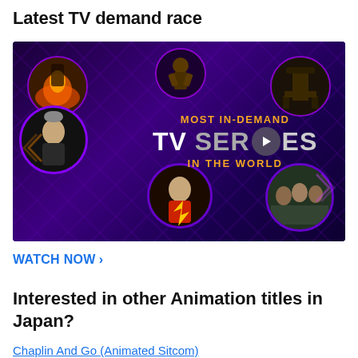Latest TV demand race
[Figure (screenshot): Promotional video thumbnail with dark purple background showing circular thumbnails of TV shows (The Witcher, Game of Thrones, The Flash, and others) around central text reading 'MOST IN-DEMAND TV SERIES IN THE WORLD' with a play button in the center.]
WATCH NOW >
Interested in other Animation titles in Japan?
Chaplin And Go (Animated Sitcom)